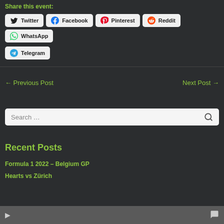Share this event:
Twitter | Facebook | Pinterest | Reddit | WhatsApp | Telegram
← Previous Post
Next Post →
Search …
Recent Posts
Formula 1 2022 – Belgium GP
Hearts vs Zürich